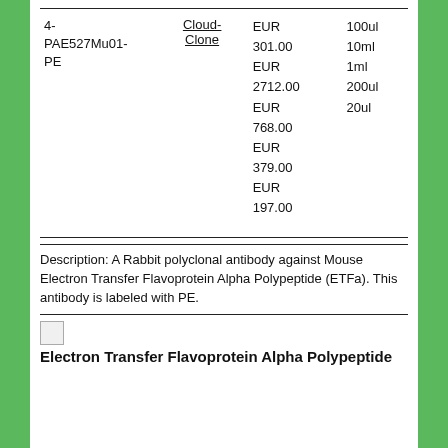| ID | Vendor | Price | Size |
| --- | --- | --- | --- |
| 4-PAE527Mu01-PE | Cloud-Clone | EUR 301.00
EUR 2712.00
EUR 768.00
EUR 379.00
EUR 197.00 | 100ul
10ml
1ml
200ul
20ul |
Description: A Rabbit polyclonal antibody against Mouse Electron Transfer Flavoprotein Alpha Polypeptide (ETFa). This antibody is labeled with PE.
[Figure (photo): Small thumbnail image placeholder]
Electron Transfer Flavoprotein Alpha Polypeptide